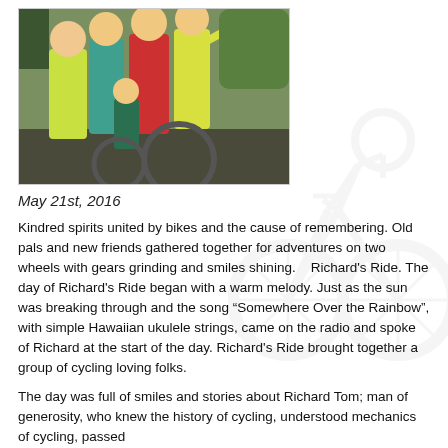[Figure (photo): Group of people in colorful athletic clothing (yellow, red, teal) gathered around a bicycle outdoors at what appears to be a cycling event, with trees and vehicles in the background.]
May 21st, 2016
Kindred spirits united by bikes and the cause of remembering. Old pals and new friends gathered together for adventures on two wheels with gears grinding and smiles shining.   Richard's Ride. The day of Richard's Ride began with a warm melody. Just as the sun was breaking through and the song “Somewhere Over the Rainbow”, with simple Hawaiian ukulele strings, came on the radio and spoke of Richard at the start of the day. Richard's Ride brought together a group of cycling loving folks.
The day was full of smiles and stories about Richard Tom; man of generosity, who knew the history of cycling, understood mechanics of cycling, passed